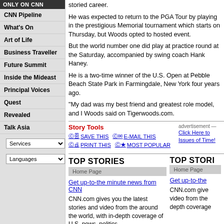ONLY ON CNN
CNN Pipeline
What's On
Art of Life
Business Traveller
Future Summit
Inside the Mideast
Principal Voices
Quest
Revealed
Talk Asia
storied career.
He was expected to return to the PGA Tour by playing in the prestigious Memorial tournament which starts on Thursday, but Woods opted to hosted event.
But the world number one did play at practice round at the Saturday, accompanied by swing coach Hank Haney.
He is a two-time winner of the U.S. Open at Pebble Beach State Park in Farmingdale, New York four years ago.
"My dad was my best friend and greatest role model, and I Woods said on Tigerwoods.com.
Woods will b third U.S. Op
Story Tools
SAVE THIS  E-MAIL THIS  PRINT THIS  MOST POPULAR
advertisement —
Click Here to Issues of Time!
TOP STORIES
Home Page
Get up-to-the minute news from CNN
CNN.com gives you the latest stories and video from the around the world, with in-depth coverage of U.S. news, politics
TOP STORI
Home Page
Get up-to-the
CNN.com give video from the depth coverage